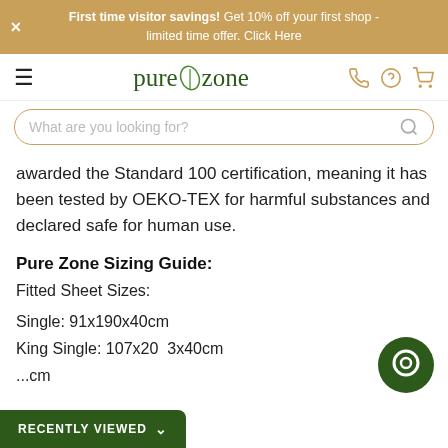First time visitor savings! Get 10% off your first shop - limited time offer. Click Here
[Figure (logo): Pure Zone logo with leaf icon in dark green]
awarded the Standard 100 certification, meaning it has been tested by OEKO-TEX for harmful substances and declared safe for human use.
Pure Zone Sizing Guide:
Fitted Sheet Sizes:
Single: 91x190x40cm
King Single: 107x203x40cm
...cm